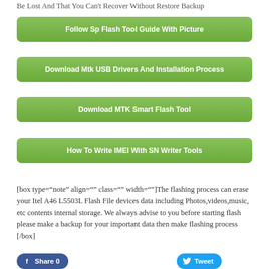Be Lost And That You Can't Recover Without Restore Backup
Follow Sp Flash Tool Guide With Picture
Download Mtk USB Drivers And Installation Process
Download MTK Smart Flash Tool
How To Write IMEI With SN Writer Tools
[box type="note" align="" class="" width=""]The flashing process can erase your Itel A46 L5503L Flash File devices data including Photos,videos,music, etc contents internal storage. We always advise to you before starting flash please make a backup for your important data then make flashing process [/box]
Share 0   Tweet